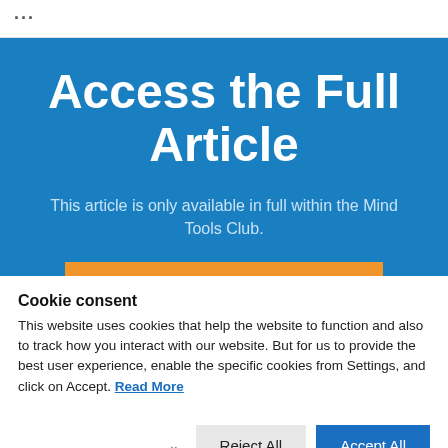...
Access the Full Article
This article is only available in full within the Mind Tools Club.
Cookie consent
This website uses cookies that help the website to function and also to track how you interact with our website. But for us to provide the best user experience, enable the specific cookies from Settings, and click on Accept. Read More